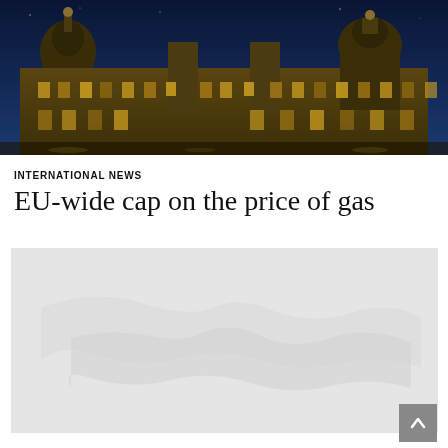[Figure (photo): Night-time photograph of a grand European government building (likely Dresden Zwinger or similar baroque palace) illuminated against a dark blue sky, with ornate architecture, domes, and lit windows visible.]
INTERNATIONAL NEWS
EU-wide cap on the price of gas
[Figure (map): A light grey map area placeholder, likely showing a map of Europe related to the EU gas price cap story.]